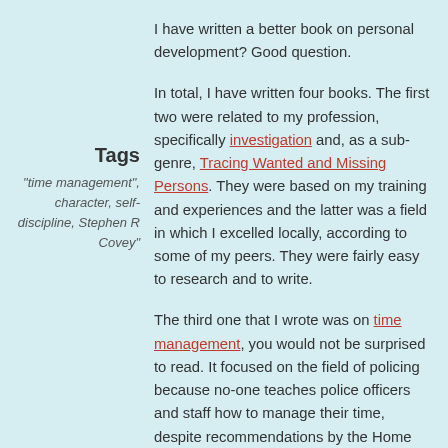I have written a better book on personal development? Good question.
Tags
"time management", character, self-discipline, Stephen R Covey"
In total, I have written four books. The first two were related to my profession, specifically investigation and, as a sub-genre, Tracing Wanted and Missing Persons. They were based on my training and experiences and the latter was a field in which I excelled locally, according to some of my peers. They were fairly easy to research and to write.
The third one that I wrote was on time management, you would not be surprised to read. It focused on the field of policing because no-one teaches police officers and staff how to manage their time, despite recommendations by the Home Office that they ought to. Also, easy to write, and just as valid for non-police officers (for whom I recently edited out